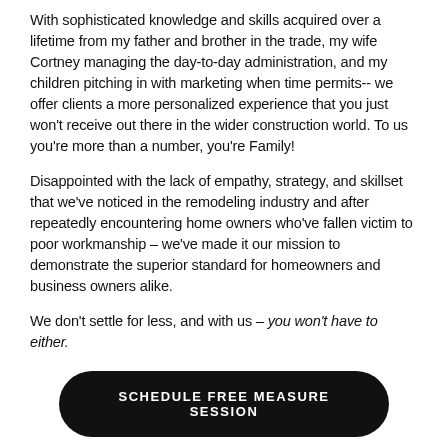With sophisticated knowledge and skills acquired over a lifetime from my father and brother in the trade, my wife Cortney managing the day-to-day administration, and my children pitching in with marketing when time permits-- we offer clients a more personalized experience that you just won't receive out there in the wider construction world. To us you're more than a number, you're Family!
Disappointed with the lack of empathy, strategy, and skillset that we've noticed in the remodeling industry and after repeatedly encountering home owners who've fallen victim to poor workmanship – we've made it our mission to demonstrate the superior standard for homeowners and business owners alike.
We don't settle for less, and with us – you won't have to either.
SCHEDULE FREE MEASURE SESSION